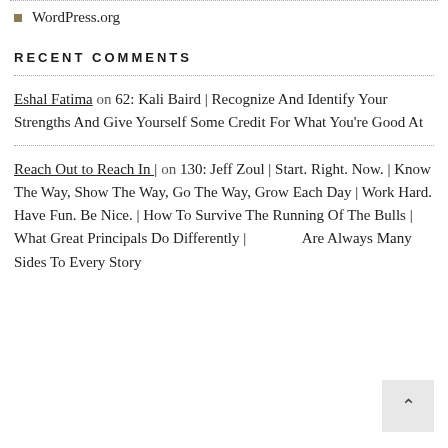WordPress.org
RECENT COMMENTS
Eshal Fatima on 62: Kali Baird | Recognize And Identify Your Strengths And Give Yourself Some Credit For What You're Good At
Reach Out to Reach In | on 130: Jeff Zoul | Start. Right. Now. | Know The Way, Show The Way, Go The Way, Grow Each Day | Work Hard. Have Fun. Be Nice. | How To Survive The Running Of The Bulls | What Great Principals Do Differently | Are Always Many Sides To Every Story